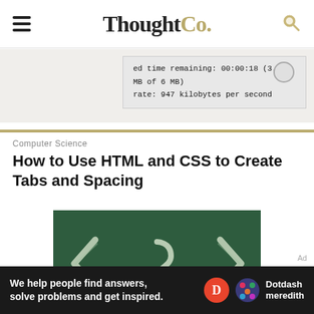ThoughtCo.
[Figure (screenshot): Download progress dialog showing: 'ed time remaining: 00:00:18 (3.02 MB of 6 MB)' and 'rate: 947 kilobytes per second']
Computer Science
How to Use HTML and CSS to Create Tabs and Spacing
[Figure (photo): Chalkboard with HTML angle bracket symbols and a question mark drawn in chalk on a green background]
Ad
We help people find answers, solve problems and get inspired. Dotdash meredith